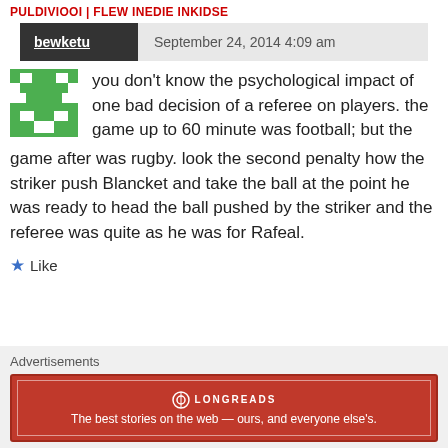PULDIVIOOI | FLEW INEDIE INKIDSE
bewketu   September 24, 2014 4:09 am
you don't know the psychological impact of one bad decision of a referee on players. the game up to 60 minute was football; but the game after was rugby. look the second penalty how the striker push Blancket and take the ball at the point he was ready to head the ball pushed by the striker and the referee was quite as he was for Rafeal.
Like
Advertisements
[Figure (infographic): Longreads advertisement banner in red: 'The best stories on the web — ours, and everyone else's.']